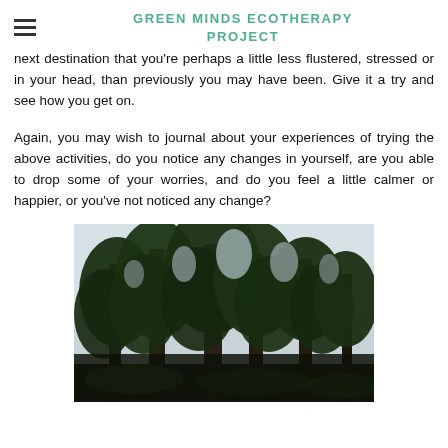GREEN MINDS ECOTHERAPY PROJECT
next destination that you're perhaps a little less flustered, stressed or in your head, than previously you may have been. Give it a try and see how you get on.
Again, you may wish to journal about your experiences of trying the above activities, do you notice any changes in yourself, are you able to drop some of your worries, and do you feel a little calmer or happier, or you've not noticed any change?
[Figure (photo): A forest scene looking upward through tall conifer trees toward a bright overcast sky, with dense green foliage visible on the tree canopy.]